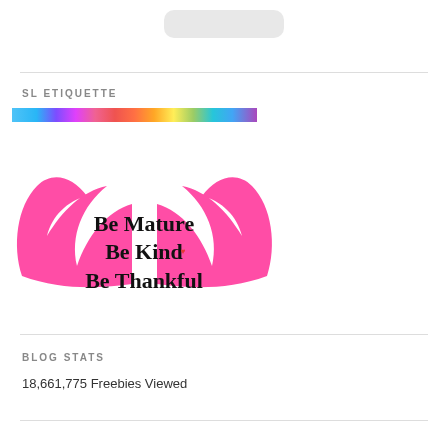[Figure (illustration): Blurred/redacted banner or logo at top of page]
SL ETIQUETTE
[Figure (illustration): Rainbow color bar above pink angel wings graphic with cursive text: Be Mature, Be Kind, Be Thankful]
BLOG STATS
18,661,775 Freebies Viewed